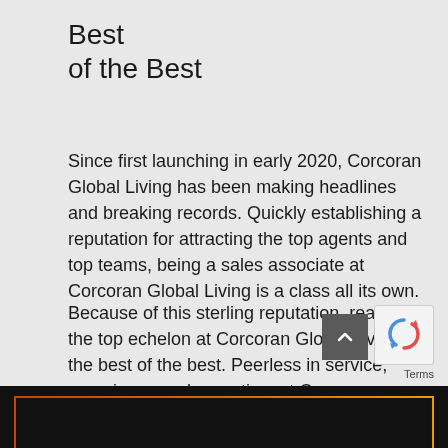Best
of the Best
Since first launching in early 2020, Corcoran Global Living has been making headlines and breaking records. Quickly establishing a reputation for attracting the top agents and top teams, being a sales associate at Corcoran Global Living is a class all its own.
Because of this sterling reputation, reaching the top echelon at Corcoran Global Living is the best of the best. Peerless in service, experience and expertise, at Corcoran Global Living it truly means something to be recognized as a top producer.